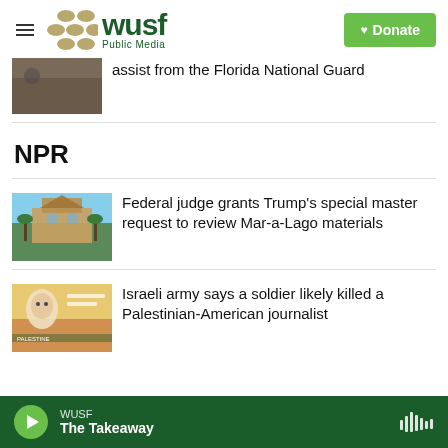[Figure (logo): WUSF Public Media logo with golden dots and green text, hamburger menu icon, and green Donate button]
assist from the Florida National Guard
NPR
Federal judge grants Trump's special master request to review Mar-a-Lago materials
Israeli army says a soldier likely killed a Palestinian-American journalist
WUSF The Takeaway